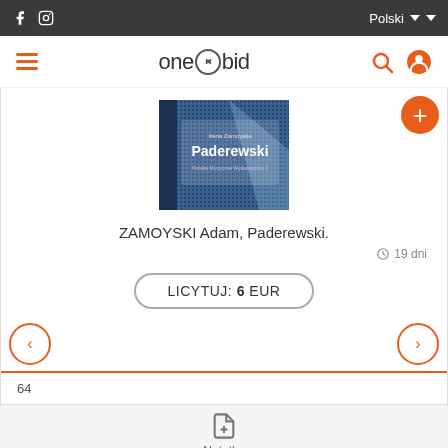f  [instagram icon]   Polski  [dropdown]  [dropdown]
[Figure (logo): one-bid logo with hamburger menu, search icon, and user icon]
[Figure (photo): Book cover of Paderewski by Zamoyski, blue patterned cover]
ZAMOYSKI Adam, Paderewski.
19 dni
LICYTUJ: 6 EUR
64
Notatka